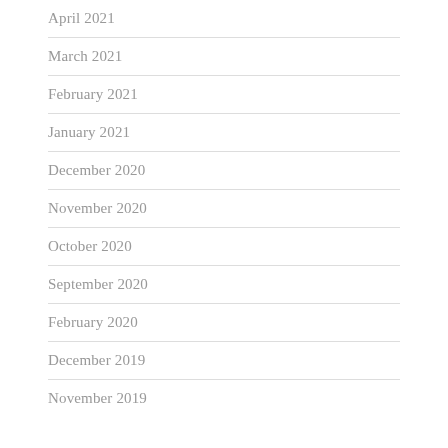April 2021
March 2021
February 2021
January 2021
December 2020
November 2020
October 2020
September 2020
February 2020
December 2019
November 2019